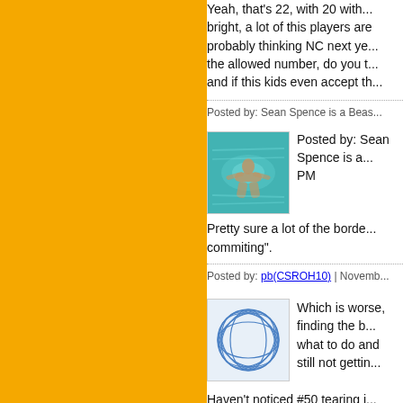Yeah, that's 22, with 20 with... bright, a lot of this players are probably thinking NC next ye... the allowed number, do you t... and if this kids even accept th...
Posted by: Sean Spence is a Beas...
[Figure (photo): Small square avatar photo showing a person swimming in turquoise/green water, viewed from above.]
Posted by: Sean Spence is a... PM
Pretty sure a lot of the borde... commiting".
Posted by: pb(CSROH10) | Novemb...
[Figure (photo): Small square avatar image showing an abstract blue and white geometric globe/sphere pattern on a light background.]
Which is worse, finding the b... what to do and still not gettin...
Haven't noticed #50 tearing i...
Posted by: Texascane
Post of the dat so far lol